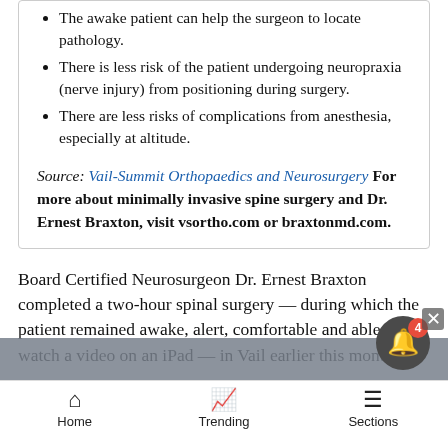The awake patient can help the surgeon to locate pathology.
There is less risk of the patient undergoing neuropraxia (nerve injury) from positioning during surgery.
There are less risks of complications from anesthesia, especially at altitude.
Source: Vail-Summit Orthopaedics and Neurosurgery For more about minimally invasive spine surgery and Dr. Ernest Braxton, visit vsortho.com or braxtonmd.com.
Board Certified Neurosurgeon Dr. Ernest Braxton completed a two-hour spinal surgery — during which the patient remained awake, alert, comfortable and able to watch a video on an iPad — in Vail earlier this month.
This minimally-invasive surgery, called an Awake MIS
Home   Trending   Sections